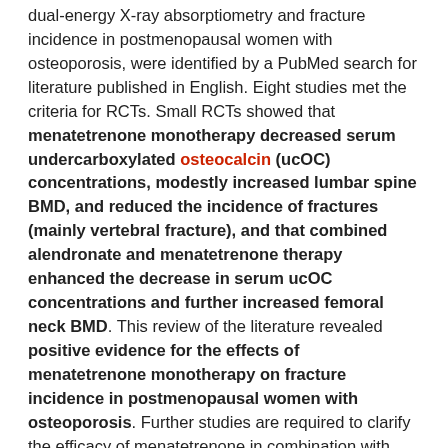dual-energy X-ray absorptiometry and fracture incidence in postmenopausal women with osteoporosis, were identified by a PubMed search for literature published in English. Eight studies met the criteria for RCTs. Small RCTs showed that menatetrenone monotherapy decreased serum undercarboxylated osteocalcin (ucOC) concentrations, modestly increased lumbar spine BMD, and reduced the incidence of fractures (mainly vertebral fracture), and that combined alendronate and menatetrenone therapy enhanced the decrease in serum ucOC concentrations and further increased femoral neck BMD. This review of the literature revealed positive evidence for the effects of menatetrenone monotherapy on fracture incidence in postmenopausal women with osteoporosis. Further studies are required to clarify the efficacy of menatetrenone in combination with bisphosphonates against fractures in postmenopausal women with osteoporosis.